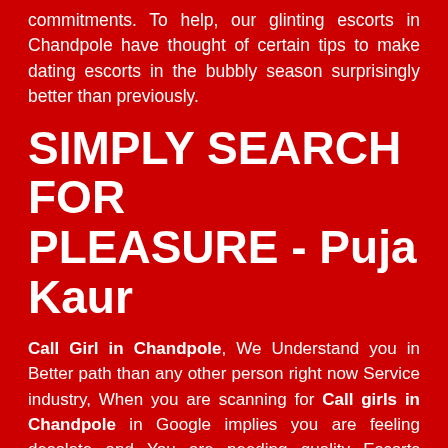commitments. To help, our glinting escorts in Chandpole have thought of certain tips to make dating escorts in the bubbly season surprisingly better than previously.
SIMPLY SEARCH FOR PLEASURE - Puja Kaur
Call Girl in Chandpole, We Understand you in Better path than any other person right now Service industry, When you are scanning for Call girls in Chandpole in Google implies you are feeling desolate and You are needing quality Escorts service in Chandpole with knowledgeable, mannered Call girls. Chandpole escort are known to be truly outstanding in the business and not a long ways behind Chandpole Russian escorts in Location like MG Road Escorts and nearly across Chandpole City. Visit their site to know more. Some Chandpole independent escorts are known to utilize